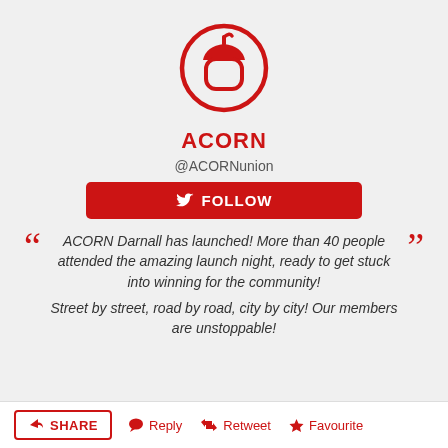[Figure (logo): ACORN red acorn logo icon inside a red circle outline]
ACORN
@ACORNunion
[Figure (screenshot): Red Follow button with Twitter bird icon and text FOLLOW]
ACORN Darnall has launched! More than 40 people attended the amazing launch night, ready to get stuck into winning for the community!

Street by street, road by road, city by city! Our members are unstoppable!
SHARE  Reply  Retweet  Favourite